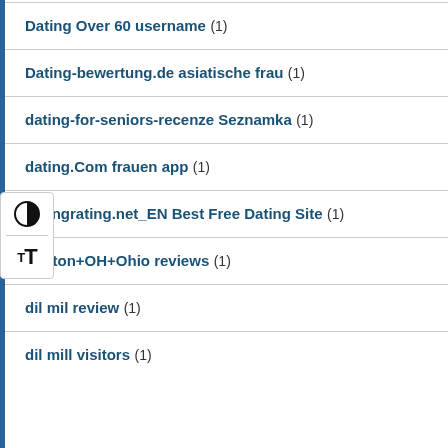Dating Over 60 username (1)
Dating-bewertung.de asiatische frau (1)
dating-for-seniors-recenze Seznamka (1)
dating.Com frauen app (1)
datingrating.net_EN Best Free Dating Site (1)
Dayton+OH+Ohio reviews (1)
dil mil review (1)
dil mill visitors (1)